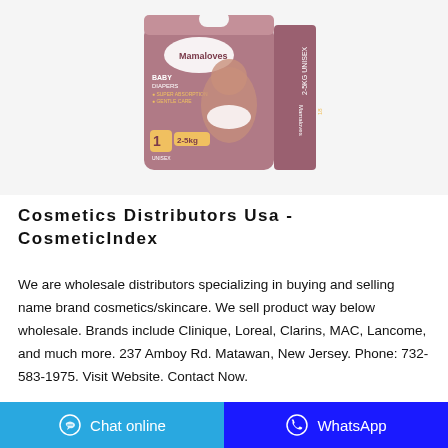[Figure (photo): Mamaloves Baby Diapers product box, size 1, 2-5kg, Unisex, with a baby on the packaging, mauve/pink color packaging]
Cosmetics Distributors Usa - CosmeticIndex
We are wholesale distributors specializing in buying and selling name brand cosmetics/skincare. We sell product way below wholesale. Brands include Clinique, Loreal, Clarins, MAC, Lancome, and much more. 237 Amboy Rd. Matawan, New Jersey. Phone: 732-583-1975. Visit Website. Contact Now.
Chat online   WhatsApp